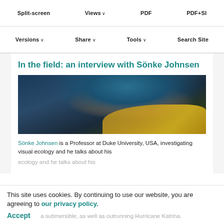Split-screen  Views  PDF  PDF+SI
Versions  Share  Tools  Search Site
In the field: an interview with Sönke Johnsen
[Figure (photo): Portrait photo of Sönke Johnsen wearing a blue hood and yellow jacket against a dark background]
Sönke Johnsen is a Professor at Duke University, USA, investigating visual ecology and he talks about his
This site uses cookies. By continuing to use our website, you are agreeing to our privacy policy.
Accept
a submersible, as well as outrunning Hurricane Katrina.